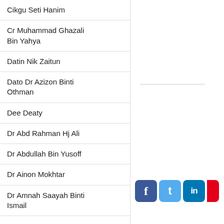Cikgu Seti Hanim
Cr Muhammad Ghazali Bin Yahya
Datin Nik Zaitun
Dato Dr Azizon Binti Othman
Dee Deaty
Dr Abd Rahman Hj Ali
Dr Abdullah Bin Yusoff
Dr Ainon Mokhtar
Dr Amnah Saayah Binti Ismail
[Figure (other): Social media icons: Facebook (blue), Twitter (light blue), LinkedIn (dark blue), and partially visible red icon]